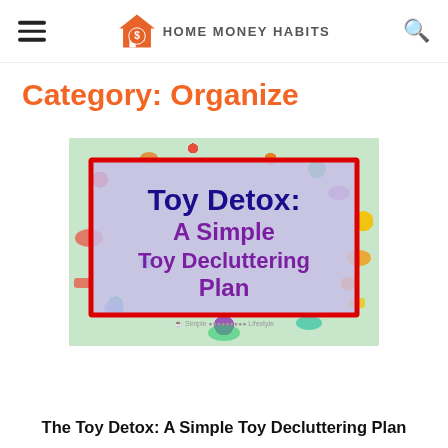HOME MONEY HABITS
Category: Organize
[Figure (illustration): Toy Detox: A Simple Toy Decluttering Plan — promotional image with colorful toys in background and red-bordered box with blue and purple bold text on purple background]
The Toy Detox: A Simple Toy Decluttering Plan